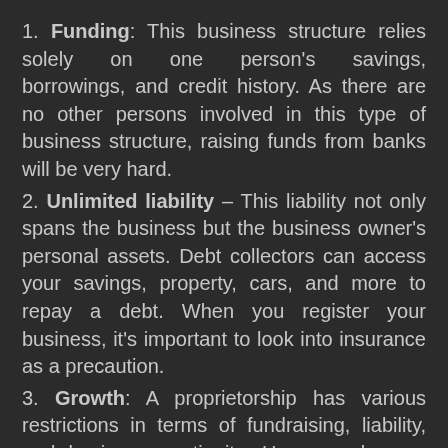1. Funding: This business structure relies solely on one person's savings, borrowings, and credit history. As there are no other persons involved in this type of business structure, raising funds from banks will be very hard.
2. Unlimited liability – This liability not only spans the business but the business owner's personal assets. Debt collectors can access your savings, property, cars, and more to repay a debt. When you register your business, it's important to look into insurance as a precaution.
3. Growth: A proprietorship has various restrictions in terms of fundraising, liability, and business continuity. Hence, only very small businesses that are in the unorganized sector operate as